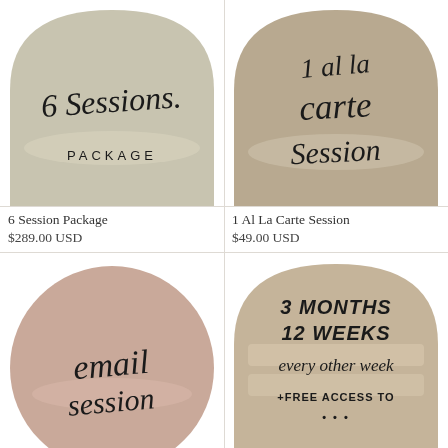[Figure (illustration): Arch-shaped card with khaki/sage green background and handwritten script text '6 Sessions. PACKAGE' with brush stroke highlight]
[Figure (illustration): Arch-shaped card with tan/brown background and handwritten script text '1 Al La carte Session' with brush stroke highlight]
6 Session Package
$289.00 USD
1 Al La Carte Session
$49.00 USD
[Figure (illustration): Circle/arch-shaped card with dusty rose/mauve background and handwritten script text 'email session' with brush stroke highlight]
[Figure (illustration): Arch-shaped card with warm tan background and handwritten bold text '3 MONTHS 12 WEEKS every other week + FREE ACCESS TO...' with brush stroke highlight]